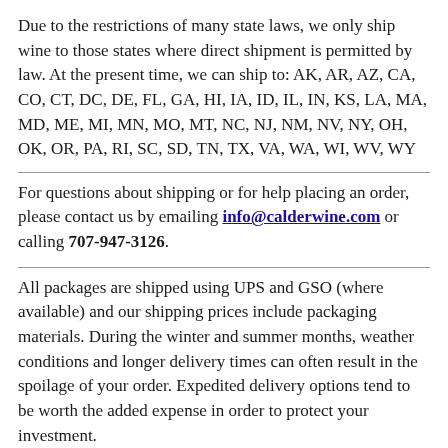Due to the restrictions of many state laws, we only ship wine to those states where direct shipment is permitted by law. At the present time, we can ship to: AK, AR, AZ, CA, CO, CT, DC, DE, FL, GA, HI, IA, ID, IL, IN, KS, LA, MA, MD, ME, MI, MN, MO, MT, NC, NJ, NM, NV, NY, OH, OK, OR, PA, RI, SC, SD, TN, TX, VA, WA, WI, WV, WY
For questions about shipping or for help placing an order, please contact us by emailing info@calderwine.com or calling 707-947-3126.
All packages are shipped using UPS and GSO (where available) and our shipping prices include packaging materials. During the winter and summer months, weather conditions and longer delivery times can often result in the spoilage of your order. Expedited delivery options tend to be worth the added expense in order to protect your investment.
You will be notified by email when your wines are shipped. Generally, we will attempt to ship your wines shortly after your order is placed. However, in effort to protect your wine, please be